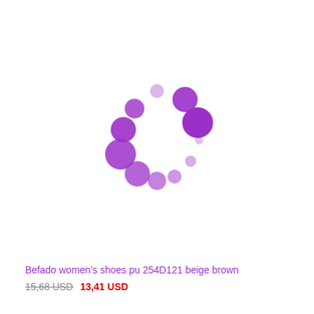[Figure (other): Purple loading spinner animation placeholder — 8 circles of varying sizes arranged in a ring, colored in purple, indicating a loading state where the product image has not yet loaded.]
Befado women's shoes pu 254D121 beige brown
15,68 USD 13,41 USD